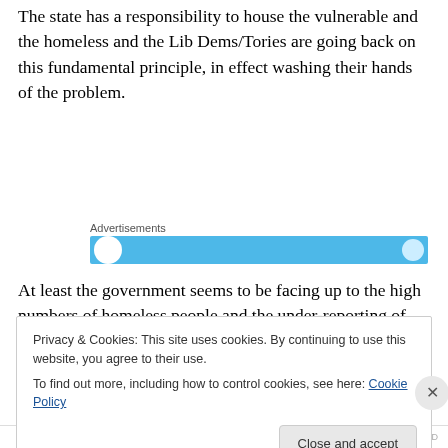The state has a responsibility to house the vulnerable and the homeless and the Lib Dems/Tories are going back on this fundamental principle, in effect washing their hands of the problem.
[Figure (other): Advertisements banner with blue background and circular logo elements]
At least the government seems to be facing up to the high numbers of homeless people and the under-reporting of the problem under Labour. However, the article fails to
Privacy & Cookies: This site uses cookies. By continuing to use this website, you agree to their use.
To find out more, including how to control cookies, see here: Cookie Policy